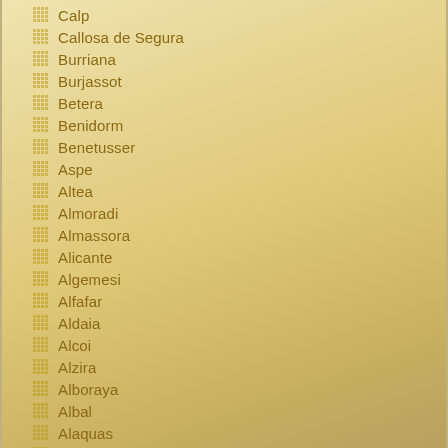Calp
Callosa de Segura
Burriana
Burjassot
Betera
Benidorm
Benetusser
Aspe
Altea
Almoradi
Almassora
Alicante
Algemesi
Alfafar
Aldaia
Alcoi
Alzira
Alboraya
Albal
Alaquas
Groa de Murviedro
Vinaros